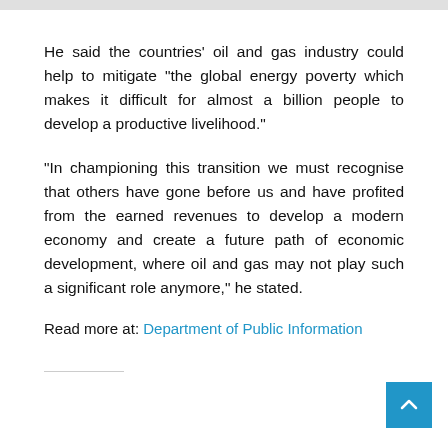He said the countries' oil and gas industry could help to mitigate “the global energy poverty which makes it difficult for almost a billion people to develop a productive livelihood.”
“In championing this transition we must recognise that others have gone before us and have profited from the earned revenues to develop a modern economy and create a future path of economic development, where oil and gas may not play such a significant role anymore,” he stated.
Read more at: Department of Public Information